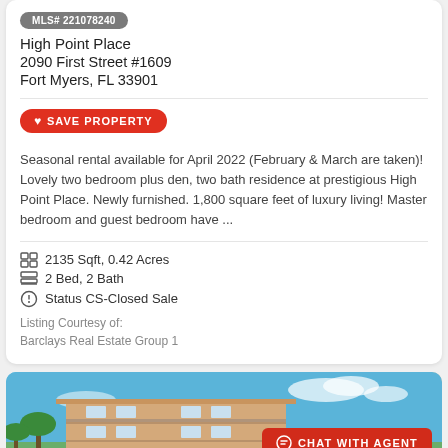MLS# 221078240
High Point Place
2090 First Street #1609
Fort Myers, FL 33901
SAVE PROPERTY
Seasonal rental available for April 2022 (February & March are taken)! Lovely two bedroom plus den, two bath residence at prestigious High Point Place. Newly furnished. 1,800 square feet of luxury living! Master bedroom and guest bedroom have ...
2135 Sqft, 0.42 Acres
2 Bed, 2 Bath
Status CS-Closed Sale
Listing Courtesy of:
Barclays Real Estate Group 1
[Figure (photo): Exterior photo of a multi-story residential building with balconies, palm trees, and blue sky background. A red 'Chat with Agent' button overlay is in the bottom right.]